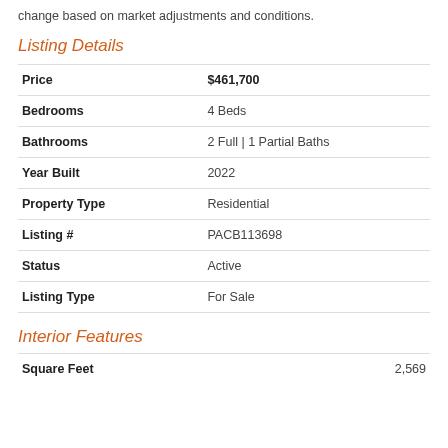change based on market adjustments and conditions.
Listing Details
| Field | Value |
| --- | --- |
| Price | $461,700 |
| Bedrooms | 4 Beds |
| Bathrooms | 2 Full | 1 Partial Baths |
| Year Built | 2022 |
| Property Type | Residential |
| Listing # | PACB113698 |
| Status | Active |
| Listing Type | For Sale |
Interior Features
| Field | Value |
| --- | --- |
| Square Feet | 2,569 |